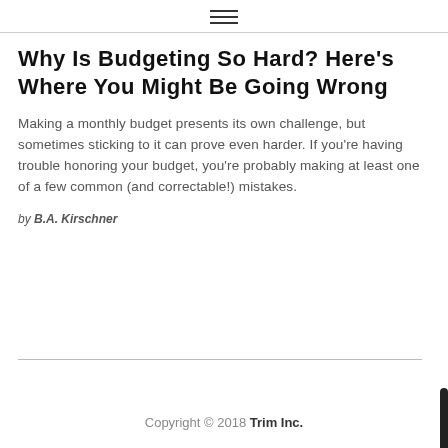≡
Why Is Budgeting So Hard? Here's Where You Might Be Going Wrong
Making a monthly budget presents its own challenge, but sometimes sticking to it can prove even harder. If you're having trouble honoring your budget, you're probably making at least one of a few common (and correctable!) mistakes.
by B.A. Kirschner
Copyright © 2018 Trim Inc.